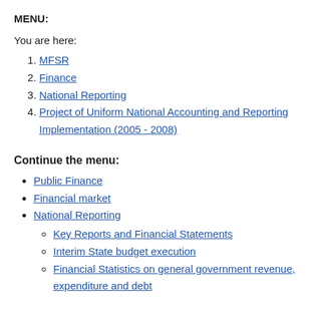MENU:
You are here:
1. MFSR
2. Finance
3. National Reporting
4. Project of Uniform National Accounting and Reporting Implementation (2005 - 2008)
Continue the menu:
Public Finance
Financial market
National Reporting
Key Reports and Financial Statements
Interim State budget execution
Financial Statistics on general government revenue, expenditure and debt